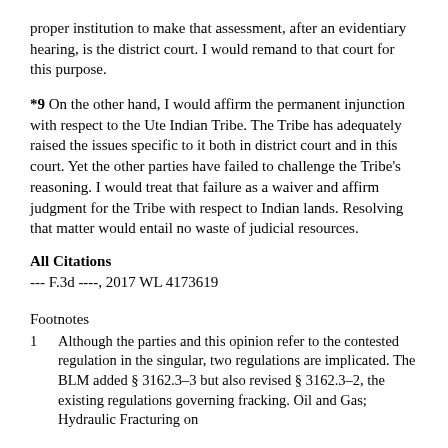proper institution to make that assessment, after an evidentiary hearing, is the district court. I would remand to that court for this purpose.
*9 On the other hand, I would affirm the permanent injunction with respect to the Ute Indian Tribe. The Tribe has adequately raised the issues specific to it both in district court and in this court. Yet the other parties have failed to challenge the Tribe's reasoning. I would treat that failure as a waiver and affirm judgment for the Tribe with respect to Indian lands. Resolving that matter would entail no waste of judicial resources.
All Citations
--- F.3d ----, 2017 WL 4173619
Footnotes
1   Although the parties and this opinion refer to the contested regulation in the singular, two regulations are implicated. The BLM added § 3162.3-3 but also revised § 3162.3-2, the existing regulations governing fracking. Oil and Gas; Hydraulic Fracturing on